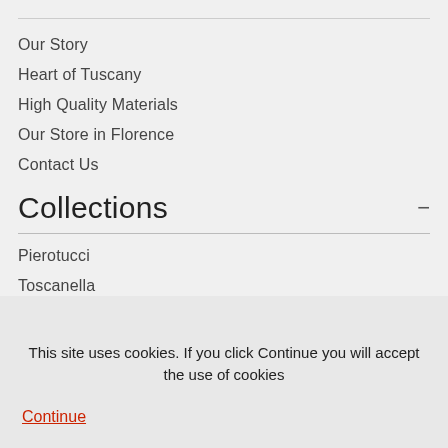Our Story
Heart of Tuscany
High Quality Materials
Our Store in Florence
Contact Us
Collections —
Pierotucci
Toscanella
Fortunata
Floré
T...
This site uses cookies. If you click Continue you will accept the use of cookies
Continue